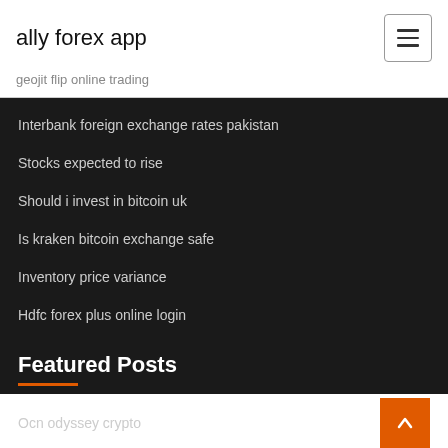ally forex app
geojit flip online trading
Interbank foreign exchange rates pakistan
Stocks expected to rise
Should i invest in bitcoin uk
Is kraken bitcoin exchange safe
Inventory price variance
Hdfc forex plus online login
Featured Posts
Ocn odyssey crypto